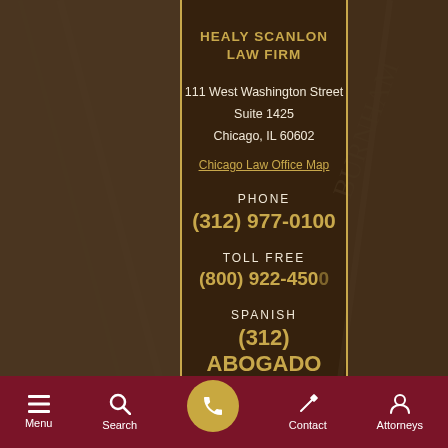HEALY SCANLON LAW FIRM
111 West Washington Street
Suite 1425
Chicago, IL 60602
Chicago Law Office Map
PHONE
(312) 977-0100
TOLL FREE
(800) 922-450
SPANISH
(312) ABOGADO
[Figure (screenshot): Mobile website screenshot of Healy Scanlon Law Firm contact page with dark brown background showing building architecture, gold border lines, accessibility icon, Let's Talk chat bubble, and bottom navigation bar with Menu, Search, Phone, Contact, and Attorneys options]
Menu  Search  Contact  Attorneys